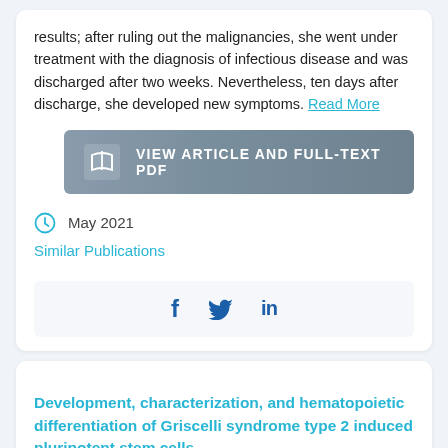results; after ruling out the malignancies, she went under treatment with the diagnosis of infectious disease and was discharged after two weeks. Nevertheless, ten days after discharge, she developed new symptoms. Read More
VIEW ARTICLE AND FULL-TEXT PDF
May 2021
Similar Publications
[Figure (infographic): Social media share icons: Facebook (f), Twitter (bird), LinkedIn (in)]
Development, characterization, and hematopoietic differentiation of Griscelli syndrome type 2 induced pluripotent stem cells.
AUTHORS: